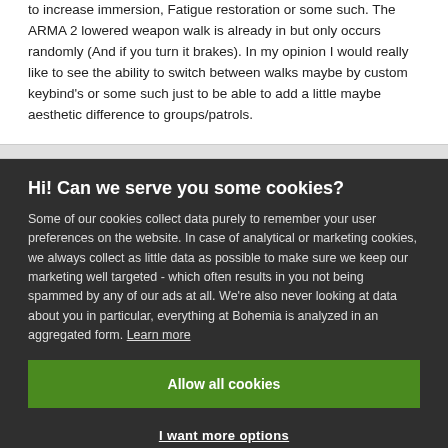to increase immersion, Fatigue restoration or some such. The ARMA 2 lowered weapon walk is already in but only occurs randomly (And if you turn it brakes). In my opinion I would really like to see the ability to switch between walks maybe by custom keybind's or some such just to be able to add a little maybe aesthetic difference to groups/patrols.
Hi! Can we serve you some cookies?
Some of our cookies collect data purely to remember your user preferences on the website. In case of analytical or marketing cookies, we always collect as little data as possible to make sure we keep our marketing well targeted - which often results in you not being spammed by any of our ads at all. We're also never looking at data about you in particular, everything at Bohemia is analyzed in an aggregated form. Learn more
Allow all cookies
I want more options